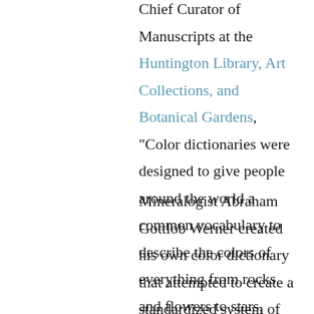Chief Curator of Manuscripts at the Huntington Library, Art Collections, and Botanical Gardens, “Color dictionaries were designed to give people around the world a common vocabulary to describe the colors of everything from rocks and flowers to stars, birds, and postage stamps.”
Mineralogist Abraham Gottlob Werner created his own color dictionary that attempted to create a standardized system of color identification. He devised a standardized color scheme that allowed him to describe even the